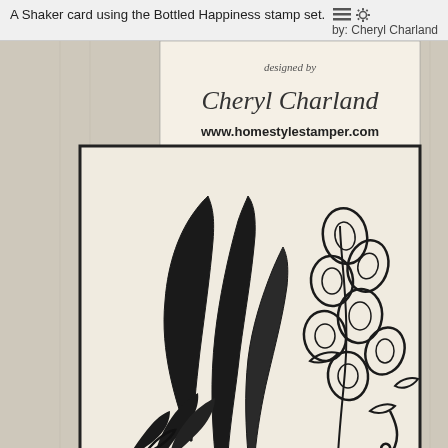A Shaker card using the Bottled Happiness stamp set.
by: Cheryl Charland
[Figure (photo): A photo showing a handmade shaker card featuring floral stamp designs (large leaves and clustered flowers in black outline) on cream/ivory cardstock, with a designer label reading 'designed by Cheryl Charland www.homestylestamper.com' visible in the background.]